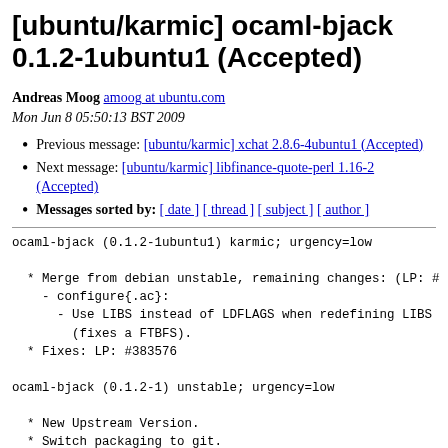[ubuntu/karmic] ocaml-bjack 0.1.2-1ubuntu1 (Accepted)
Andreas Moog amoog at ubuntu.com
Mon Jun 8 05:50:13 BST 2009
Previous message: [ubuntu/karmic] xchat 2.8.6-4ubuntu1 (Accepted)
Next message: [ubuntu/karmic] libfinance-quote-perl 1.16-2 (Accepted)
Messages sorted by: [ date ] [ thread ] [ subject ] [ author ]
ocaml-bjack (0.1.2-1ubuntu1) karmic; urgency=low

  * Merge from debian unstable, remaining changes: (LP: #
    - configure{.ac}:
      - Use LIBS instead of LDFLAGS when redefining LIBS
        (fixes a FTBFS).
  * Fixes: LP: #383576

ocaml-bjack (0.1.2-1) unstable; urgency=low

  * New Upstream Version.
  * Switch packaging to git.